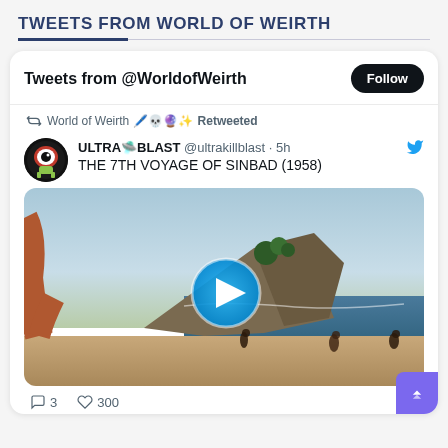TWEETS FROM WORLD OF WEIRTH
Tweets from @WorldofWeirth
World of Weirth 🖊️💀🔮✨ Retweeted
ULTRA🛸BLAST @ultrakillblast · 5h
THE 7TH VOYAGE OF SINBAD (1958)
[Figure (screenshot): Video thumbnail of a beach scene from The 7th Voyage of Sinbad (1958) with a blue play button overlay. Rocky cliffs and ocean visible, figures on beach, large creature hand on left edge.]
3  300